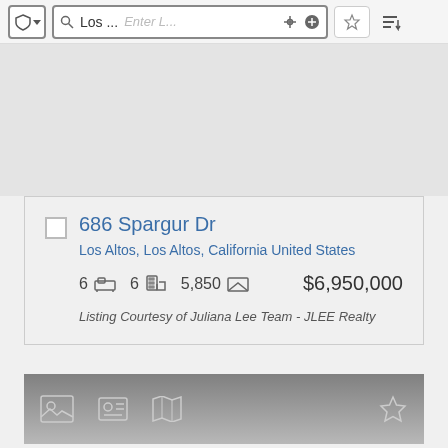[Figure (screenshot): Top toolbar with shield/filter button, search box showing 'Los ...' and placeholder 'Enter L...', crosshair and plus icons, star/favorite button, and sort button]
[Figure (other): Gray map area placeholder]
686 Spargur Dr
Los Altos, Los Altos, California United States
6  [bed icon]  6  [bath icon]  5,850  [sqft icon]  $6,950,000
Listing Courtesy of Juliana Lee Team - JLEE Realty
[Figure (screenshot): Bottom gradient gray bar with photo icon, contact card icon, map icon, and star/favorite icon]